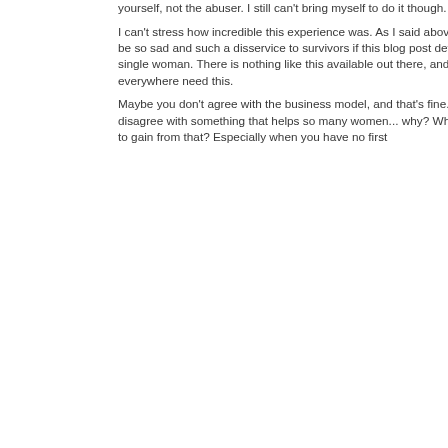yourself, not the abuser. I still can't bring myself to do it though.
I can't stress how incredible this experience was. As I said above, it would be so sad and such a disservice to survivors if this blog post deters a single woman. There is nothing like this available out there, and survivors everywhere need this.
Maybe you don't agree with the business model, and that's fine. But to disagree with something that helps so many women... why? What is there to gain from that? Especially when you have no first